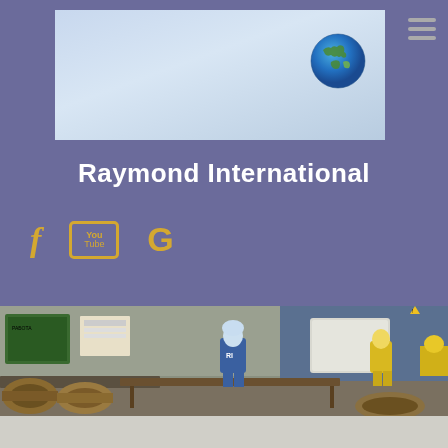[Figure (photo): Hero banner image with light blue gradient background and a globe icon in the upper right]
Raymond International
[Figure (logo): Social media icons: Facebook (f), YouTube, and Google (G) in gold/yellow color on purple background]
[Figure (photo): Factory/workshop photo showing workers in protective gear (blue and yellow suits) working with large industrial pipe components/valves on tables]